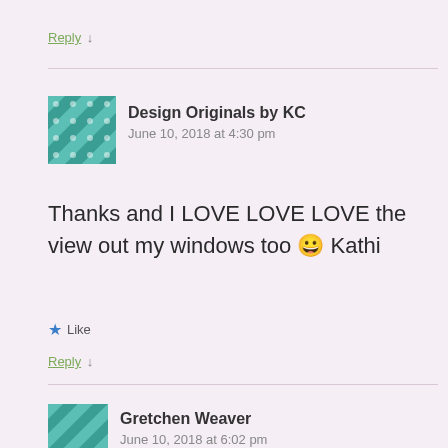Reply ↓
[Figure (illustration): Teal/green geometric quilt pattern avatar for Design Originals by KC]
Design Originals by KC
June 10, 2018 at 4:30 pm
Thanks and I LOVE LOVE LOVE the view out my windows too 😀 Kathi
★ Like
Reply ↓
[Figure (illustration): Teal/green geometric quilt pattern avatar for Gretchen Weaver]
Gretchen Weaver
June 10, 2018 at 6:02 pm